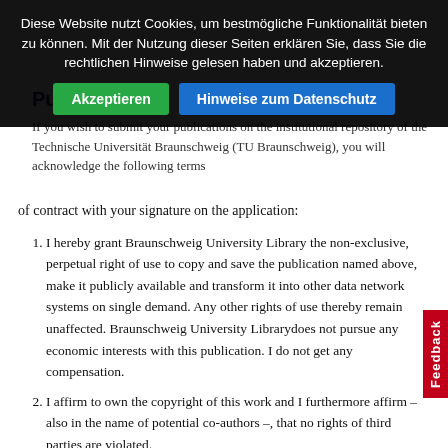Publications
If you wish to submit your publications on the institutional repository of the Technische Universität Braunschweig (TU Braunschweig), you will acknowledge the following terms of contract with your signature on the application:
I hereby grant Braunschweig University Library the non-exclusive, perpetual right of use to copy and save the publication named above, make it publicly available and transform it into other data network systems on single demand. Any other rights of use thereby remain unaffected. Braunschweig University Librarydoes not pursue any economic interests with this publication. I do not get any compensation.
I affirm to own the copyright of this work and I furthermore affirm – also in the name of potential co-authors –, that no rights of third parties are violated.
Cookie banner: Diese Website nutzt Cookies, um bestmögliche Funktionalität bieten zu können. Mit der Nutzung dieser Seiten erklären Sie, dass Sie die rechtlichen Hinweise gelesen haben und akzeptieren.